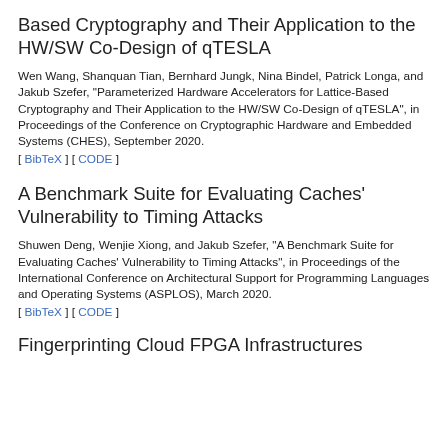Based Cryptography and Their Application to the HW/SW Co-Design of qTESLA
Wen Wang, Shanquan Tian, Bernhard Jungk, Nina Bindel, Patrick Longa, and Jakub Szefer, "Parameterized Hardware Accelerators for Lattice-Based Cryptography and Their Application to the HW/SW Co-Design of qTESLA", in Proceedings of the Conference on Cryptographic Hardware and Embedded Systems (CHES), September 2020.
[ BibTeX ] [ CODE ]
A Benchmark Suite for Evaluating Caches' Vulnerability to Timing Attacks
Shuwen Deng, Wenjie Xiong, and Jakub Szefer, "A Benchmark Suite for Evaluating Caches' Vulnerability to Timing Attacks", in Proceedings of the International Conference on Architectural Support for Programming Languages and Operating Systems (ASPLOS), March 2020.
[ BibTeX ] [ CODE ]
Fingerprinting Cloud FPGA Infrastructures